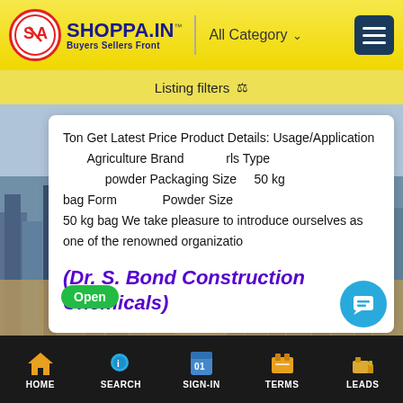[Figure (screenshot): Shoppa.in website header with logo, All Category dropdown, and hamburger menu on yellow gradient background]
Listing filters
Ton Get Latest Price Product Details: Usage/Application Agriculture Brand rls Type powder Packaging Size 50 kg bag Form Powder Size 50 kg bag We take pleasure to introduce ourselves as one of the renowned organizatio
(Dr. S. Bond Construction Chemicals)
[Figure (photo): City skyline background image with buildings]
HOME   SEARCH   SIGN-IN   TERMS   LEADS